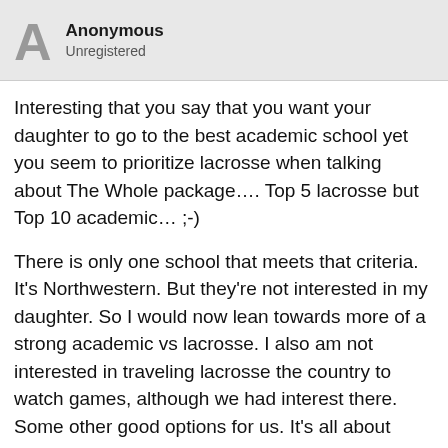Anonymous
Unregistered
Interesting that you say that you want your daughter to go to the best academic school yet you seem to prioritize lacrosse when talking about The Whole package…. Top 5 lacrosse but Top 10 academic… ;-)
There is only one school that meets that criteria. It's Northwestern. But they're not interested in my daughter. So I would now lean towards more of a strong academic vs lacrosse. I also am not interested in traveling lacrosse the country to watch games, although we had interest there. Some other good options for us. It's all about priorities and options. Good luck!
Anonymous #348727
[Figure (screenshot): Nike advertisement: Nike. Just Do It — Inspiring the world's athletes, Nike delivers the deals. www.nike.com]